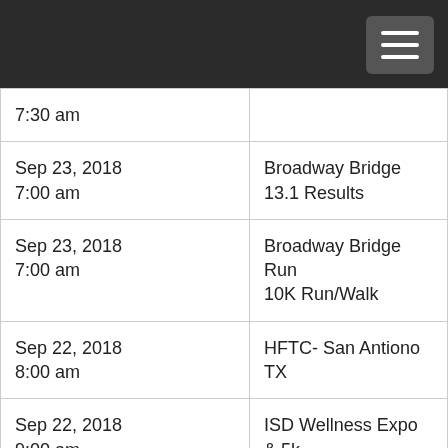| Date/Time | Event |
| --- | --- |
| 7:30 am |  |
| Sep 23, 2018
7:00 am | Broadway Bridge 13.1 Results |
| Sep 23, 2018
7:00 am | Broadway Bridge Run
10K Run/Walk |
| Sep 22, 2018
8:00 am | HFTC- San Antiono TX |
| Sep 22, 2018
9:00 am | ISD Wellness Expo & 5k |